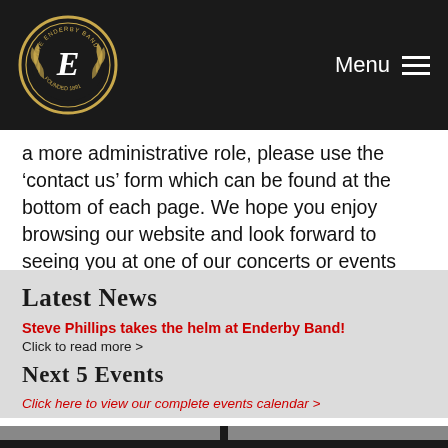The Enderby Band logo | Menu
a more administrative role, please use the ‘contact us’ form which can be found at the bottom of each page. We hope you enjoy browsing our website and look forward to seeing you at one of our concerts or events soon.
Latest News
Steve Phillips takes the helm at Enderby Band!
Click to read more >
Next 5 Events
Click here to view our complete events calendar >